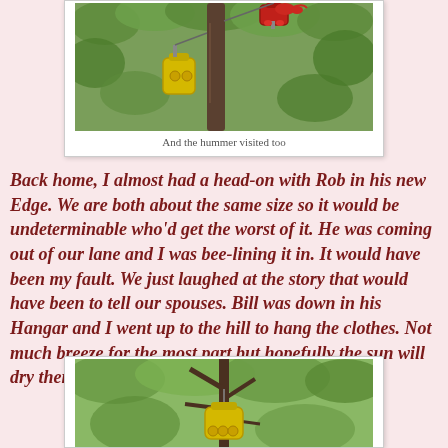[Figure (photo): A hummingbird feeder hanging on a tree branch with green foliage background and a red hummingbird feeder visible at top]
And the hummer visited too
Back home, I almost had a head-on with Rob in his new Edge. We are both about the same size so it would be undeterminable who'd get the worst of it. He was coming out of our lane and I was bee-lining it in. It would have been my fault. We just laughed at the story that would have been to tell our spouses. Bill was down in his Hangar and I went up to the hill to hang the clothes. Not much breeze for the most part but hopefully the sun will dry them quick enough.
[Figure (photo): A yellow bird feeder hanging on a bare tree branch with green foliage background]